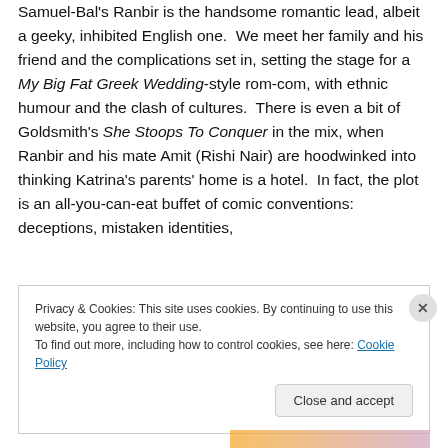dotdapu namean  You can't help liking her. Adam Samuel-Bal's Ranbir is the handsome romantic lead, albeit a geeky, inhibited English one.  We meet her family and his friend and the complications set in, setting the stage for a My Big Fat Greek Wedding-style rom-com, with ethnic humour and the clash of cultures.  There is even a bit of Goldsmith's She Stoops To Conquer in the mix, when Ranbir and his mate Amit (Rishi Nair) are hoodwinked into thinking Katrina's parents' home is a hotel.  In fact, the plot is an all-you-can-eat buffet of comic conventions: deceptions, mistaken identities,
Privacy & Cookies: This site uses cookies. By continuing to use this website, you agree to their use.
To find out more, including how to control cookies, see here: Cookie Policy